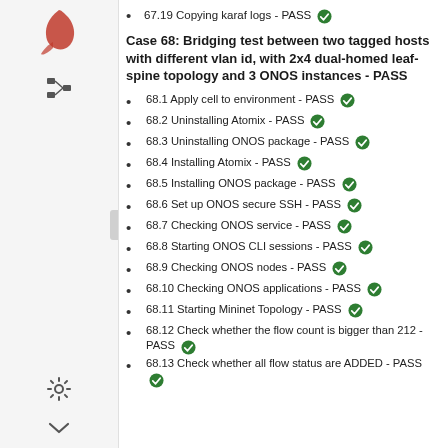67.19 Copying karaf logs - PASS ✅
Case 68: Bridging test between two tagged hosts with different vlan id, with 2x4 dual-homed leaf-spine topology and 3 ONOS instances - PASS
68.1 Apply cell to environment - PASS ✅
68.2 Uninstalling Atomix - PASS ✅
68.3 Uninstalling ONOS package - PASS ✅
68.4 Installing Atomix - PASS ✅
68.5 Installing ONOS package - PASS ✅
68.6 Set up ONOS secure SSH - PASS ✅
68.7 Checking ONOS service - PASS ✅
68.8 Starting ONOS CLI sessions - PASS ✅
68.9 Checking ONOS nodes - PASS ✅
68.10 Checking ONOS applications - PASS ✅
68.11 Starting Mininet Topology - PASS ✅
68.12 Check whether the flow count is bigger than 212 - PASS ✅
68.13 Check whether all flow status are ADDED - PASS ✅